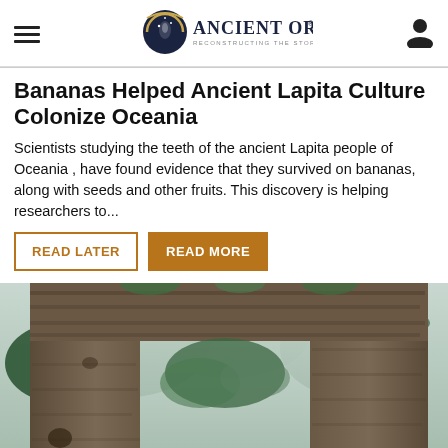Ancient Origins — Reconstructing the story of humanity's past
Bananas Helped Ancient Lapita Culture Colonize Oceania
Scientists studying the teeth of the ancient Lapita people of Oceania, have found evidence that they survived on bananas, along with seeds and other fruits. This discovery is helping researchers to...
[Figure (photo): Stone arch or gateway structure covered in dark rocky/coral material, surrounded by tropical vegetation including palm trees and green foliage, viewed from ground level.]